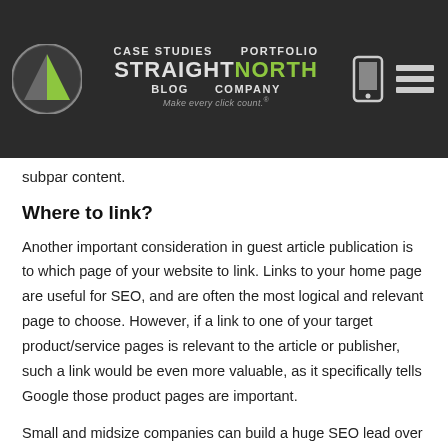CASE STUDIES  PORTFOLIO  STRAIGHT NORTH  BLOG  COMPANY  Make every click count.®
subpar content.
Where to link?
Another important consideration in guest article publication is to which page of your website to link. Links to your home page are useful for SEO, and are often the most logical and relevant page to choose. However, if a link to one of your target product/service pages is relevant to the article or publisher, such a link would be even more valuable, as it specifically tells Google those product pages are important.
Small and midsize companies can build a huge SEO lead over competitors with a successful link building campaign focused along these lines, because most companies have